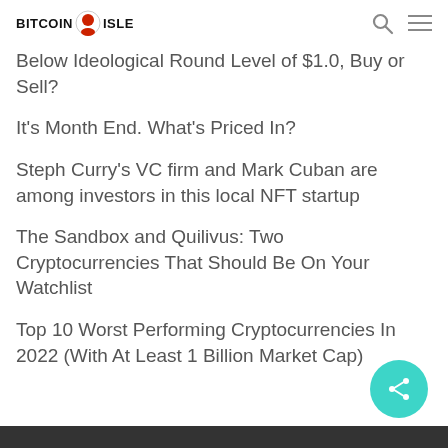BITCOIN ISLE
Below Ideological Round Level of $1.0, Buy or Sell?
It's Month End. What's Priced In?
Steph Curry's VC firm and Mark Cuban are among investors in this local NFT startup
The Sandbox and Quilivus: Two Cryptocurrencies That Should Be On Your Watchlist
Top 10 Worst Performing Cryptocurrencies In 2022 (With At Least 1 Billion Market Cap)